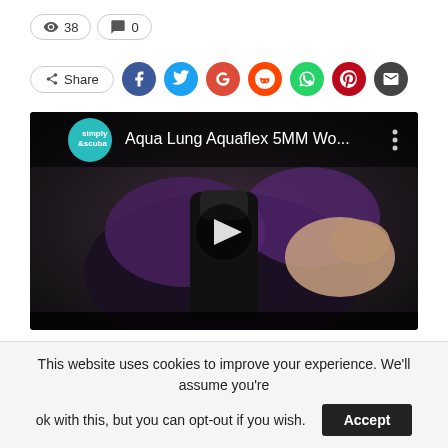👁 38   💬 0
Share (social icons: Facebook, Twitter, Google, Reddit, WhatsApp, Pinterest, Email)
[Figure (screenshot): YouTube video thumbnail for 'Aqua Lung Aquaflex 5MM Wo...' from Simply Scuba channel, showing a dark wetsuit being handled, with a play button overlay.]
This website uses cookies to improve your experience. We'll assume you're ok with this, but you can opt-out if you wish. Accept